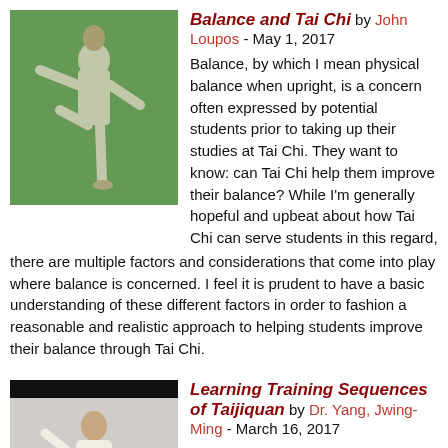[Figure (photo): Man in white clothing practicing Tai Chi pose outdoors with green foliage background]
Balance and Tai Chi by John Loupos - May 1, 2017
Balance, by which I mean physical balance when upright, is a concern often expressed by potential students prior to taking up their studies at Tai Chi. They want to know: can Tai Chi help them improve their balance? While I'm generally hopeful and upbeat about how Tai Chi can serve students in this regard, there are multiple factors and considerations that come into play where balance is concerned. I feel it is prudent to have a basic understanding of these different factors in order to fashion a reasonable and realistic approach to helping students improve their balance through Tai Chi.
[Figure (photo): Man in white top and dark pants practicing Taijiquan pose with black bars above and below]
Learning Training Sequences of Taijiquan by Dr. Yang, Jwing-Ming - March 16, 2017
Every taiji master has his own sequence of training, emphasizing his methods and content. The following is a list of general training procedures according to my experience with three taiji